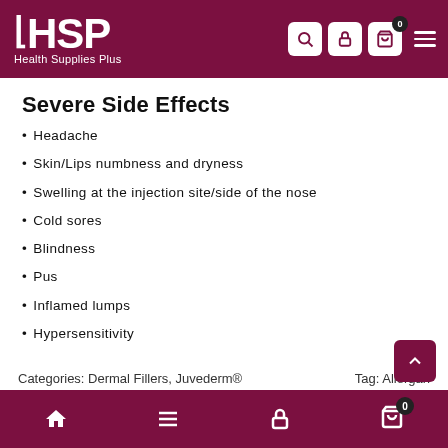HSP Health Supplies Plus
Severe Side Effects
Headache
Skin/Lips numbness and dryness
Swelling at the injection site/side of the nose
Cold sores
Blindness
Pus
Inflamed lumps
Hypersensitivity
Categories: Dermal Fillers, Juvederm®   Tag: Allergan
Home | Menu | Lock | Cart (0)